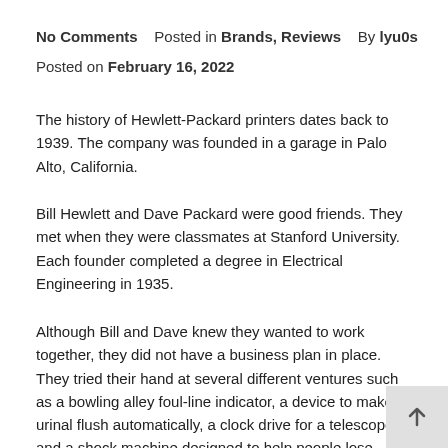No Comments   Posted in Brands, Reviews   By lyu0s
Posted on February 16, 2022
The history of Hewlett-Packard printers dates back to 1939. The company was founded in a garage in Palo Alto, California.
Bill Hewlett and Dave Packard were good friends. They met when they were classmates at Stanford University. Each founder completed a degree in Electrical Engineering in 1935.
Although Bill and Dave knew they wanted to work together, they did not have a business plan in place. They tried their hand at several different ventures such as a bowling alley foul-line indicator, a device to make a urinal flush automatically, a clock drive for a telescope, and a shock machine designed to help people lose weight.